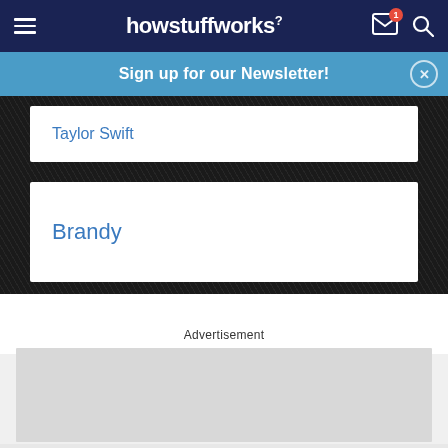howstuffworks
Sign up for our Newsletter!
Taylor Swift
Brandy
Advertisement